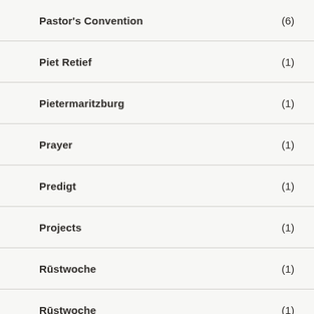Pastor's Convention (6)
Piet Retief (1)
Pietermaritzburg (1)
Prayer (1)
Predigt (1)
Projects (1)
Rūstwoche (1)
Rūstwoche (1)
Sacraments (1)
Sermon (1)